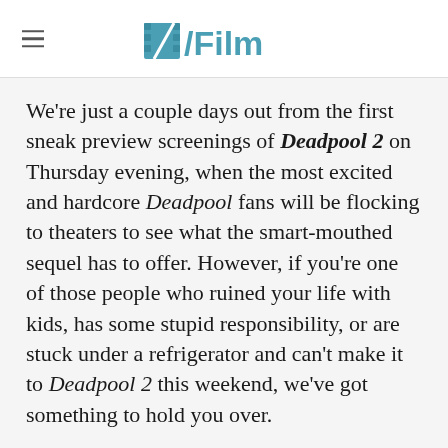/Film
We're just a couple days out from the first sneak preview screenings of Deadpool 2 on Thursday evening, when the most excited and hardcore Deadpool fans will be flocking to theaters to see what the smart-mouthed sequel has to offer. However, if you're one of those people who ruined your life with kids, has some stupid responsibility, or are stuck under a refrigerator and can't make it to Deadpool 2 this weekend, we've got something to hold you over.
A new Deadpool 2 clip has surfaced online featuring Ryan Reynolds arriving at a tense stand-off as the Merc with a Mouth alongside the X-Men. It appears